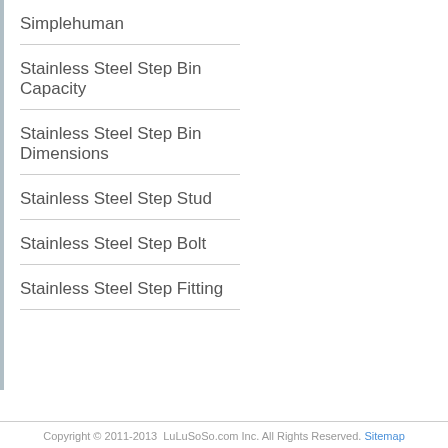Simplehuman
Stainless Steel Step Bin Capacity
Stainless Steel Step Bin Dimensions
Stainless Steel Step Stud
Stainless Steel Step Bolt
Stainless Steel Step Fitting
Copyright © 2011-2013  LuLuSoSo.com Inc. All Rights Reserved. Sitemap